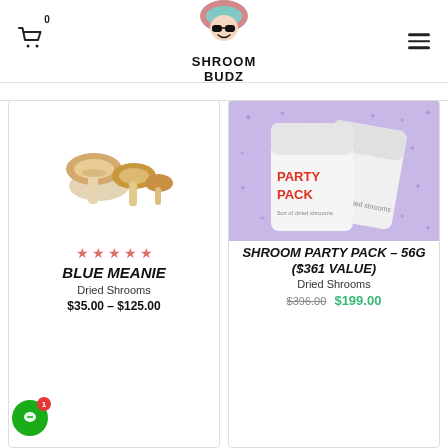[Figure (logo): Shroom Budz logo with mushroom character wearing sunglasses]
[Figure (photo): Dried mushrooms (Blue Meanie) on white background]
★★★★★
BLUE MEANIE
Dried Shrooms
$35.00 – $125.00
[Figure (photo): Shroom Party Pack bags on purple/lavender background]
SHROOM PARTY PACK – 56G ($361 VALUE)
Dried Shrooms
$396.00  $199.00